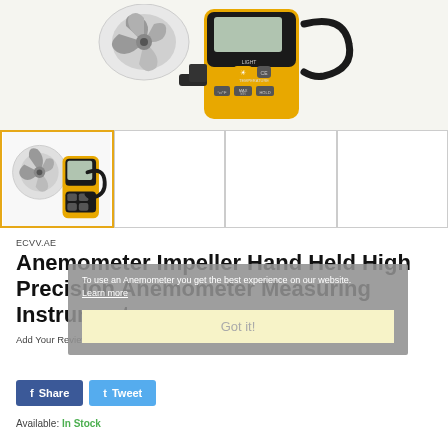[Figure (photo): Main product image of a yellow and black handheld anemometer with impeller fan head, digital display screen, buttons labeled LIGHT, °c/°F, MAX MIN, HOLD, and a lanyard loop on the right side]
[Figure (screenshot): Thumbnail strip with four product image thumbnails; first thumbnail active (highlighted with gold border) showing anemometer device, remaining three thumbnails blank/white]
ECVV.AE
Anemometer Impeller Hand Held High Precision Anemometer Measuring Instrument
Add Your Review
To use an Anemometer you get the best experience on our website. Learn more
Got it!
f Share
t Tweet
Available: In Stock